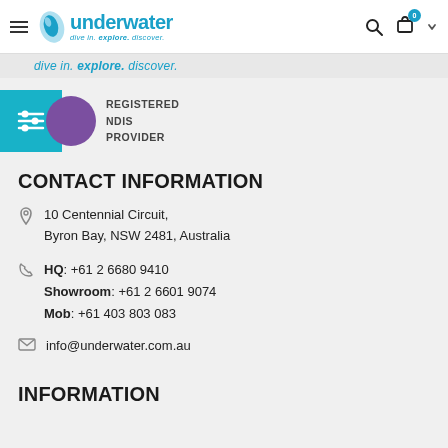Underwater — dive in. explore. discover. [navigation bar with hamburger, logo, search, cart, chevron]
dive in. explore. discover.
[Figure (logo): Registered NDIS Provider badge — teal block with filter icon, purple circle, text REGISTERED NDIS PROVIDER]
CONTACT INFORMATION
10 Centennial Circuit, Byron Bay, NSW 2481, Australia
HQ: +61 2 6680 9410
Showroom: +61 2 6601 9074
Mob: +61 403 803 083
info@underwater.com.au
INFORMATION